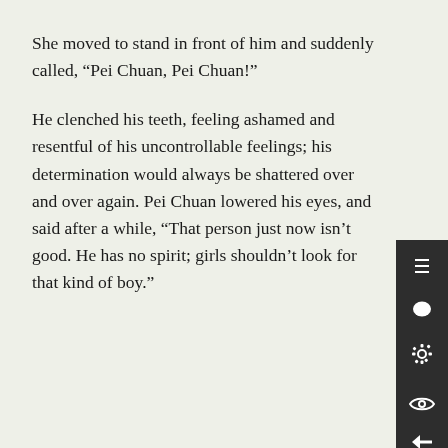She moved to stand in front of him and suddenly called, “Pei Chuan, Pei Chuan!”
He clenched his teeth, feeling ashamed and resentful of his uncontrollable feelings; his determination would always be shattered over and over again. Pei Chuan lowered his eyes, and said after a while, “That person just now isn’t good. He has no spirit; girls shouldn’t look for that kind of boy.”